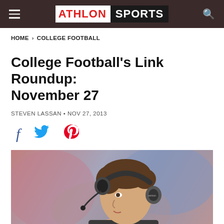ATHLON SPORTS
HOME > COLLEGE FOOTBALL
College Football's Link Roundup: November 27
STEVEN LASSAN • NOV 27, 2013
[Figure (other): Social sharing icons: Facebook, Twitter, Pinterest]
[Figure (photo): A football coach on the sideline wearing a headset with Verizon branding, in profile view, with a blurred stadium background]